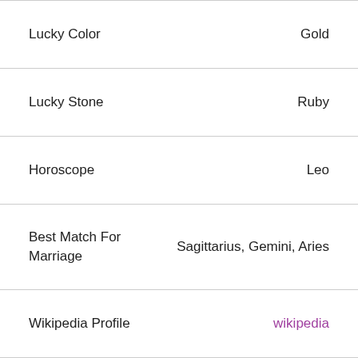| Property | Value |
| --- | --- |
| Lucky Color | Gold |
| Lucky Stone | Ruby |
| Horoscope | Leo |
| Best Match For Marriage | Sagittarius, Gemini, Aries |
| Wikipedia Profile | wikipedia |
| Imdb Profile | imdb |
| General Wiki of Laura Innes |  |
Laura Innes Age, Wiki/Biography